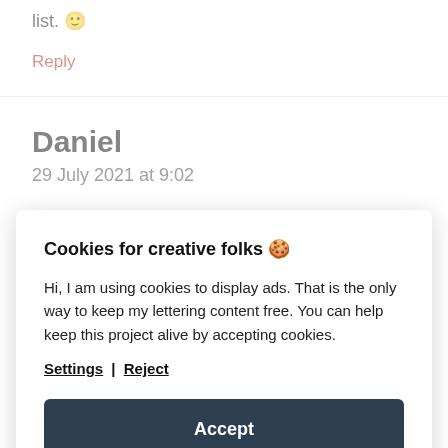list. 🙂
Reply
Daniel
29 July 2021 at 9:02
Cookies for creative folks 🍪
Hi, I am using cookies to display ads. That is the only way to keep my lettering content free. You can help keep this project alive by accepting cookies.
Settings | Reject
Accept
Reply